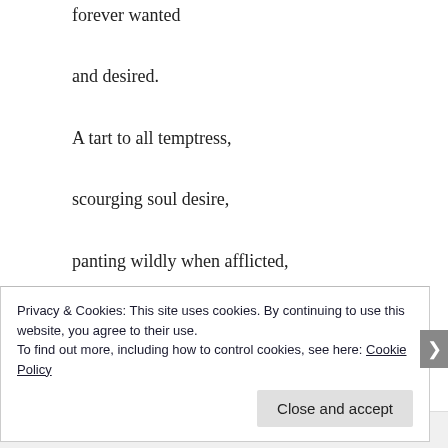forever wanted
and desired.
A tart to all temptress,
scourging soul desire,
panting wildly when afflicted,
reddened pout
to tease all suitors.
Privacy & Cookies: This site uses cookies. By continuing to use this website, you agree to their use.
To find out more, including how to control cookies, see here: Cookie Policy
Close and accept